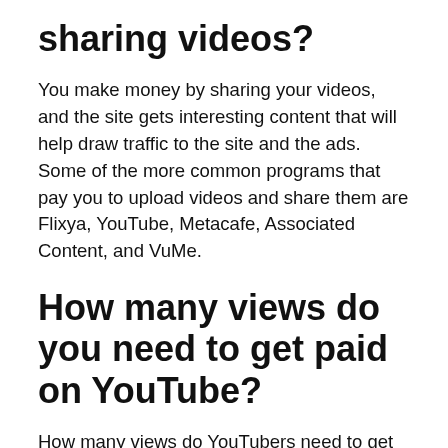sharing videos?
You make money by sharing your videos, and the site gets interesting content that will help draw traffic to the site and the ads. Some of the more common programs that pay you to upload videos and share them are Flixya, YouTube, Metacafe, Associated Content, and VuMe.
How many views do you need to get paid on YouTube?
How many views do YouTubers need to get paid? In order to get paid by YouTube, you need to reach a balance of $100 or more